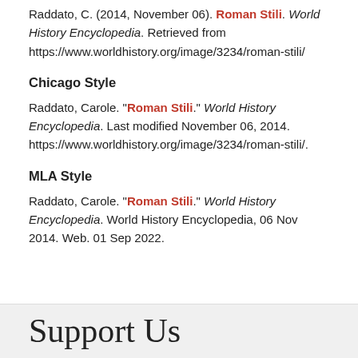Raddato, C. (2014, November 06). Roman Stili. World History Encyclopedia. Retrieved from https://www.worldhistory.org/image/3234/roman-stili/
Chicago Style
Raddato, Carole. "Roman Stili." World History Encyclopedia. Last modified November 06, 2014. https://www.worldhistory.org/image/3234/roman-stili/.
MLA Style
Raddato, Carole. "Roman Stili." World History Encyclopedia. World History Encyclopedia, 06 Nov 2014. Web. 01 Sep 2022.
Support Us